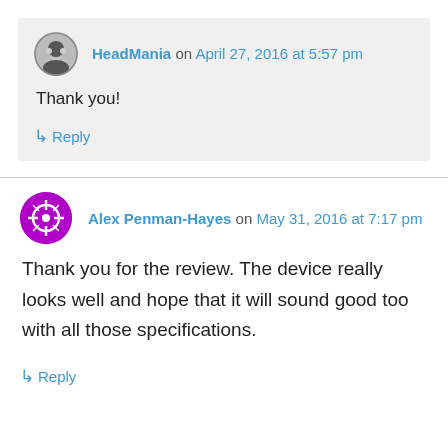HeadMania on April 27, 2016 at 5:57 pm
Thank you!
↳ Reply
Alex Penman-Hayes on May 31, 2016 at 7:17 pm
Thank you for the review. The device really looks well and hope that it will sound good too with all those specifications.
↳ Reply